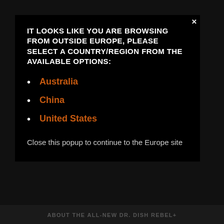IT LOOKS LIKE YOU ARE BROWSING FROM OUTSIDE EUROPE, PLEASE SELECT A COUNTRY/REGION FROM THE AVAILABLE OPTIONS:
Australia
China
United States
Close this popup to continue to the Europe site
ABOUT THE ALL-NEW DR. DISH REBEL+